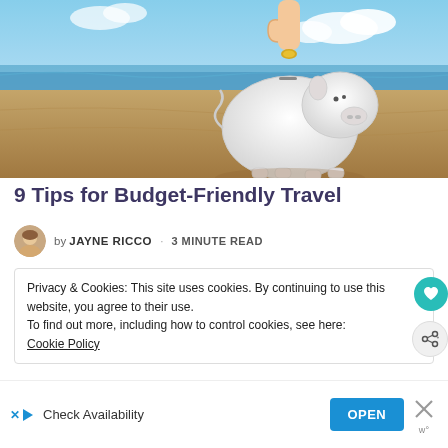[Figure (photo): A white ceramic piggy bank sitting on sandy beach with ocean in the background; a hand holds a coin above the piggy bank slot. Sunny sky with clouds.]
9 Tips for Budget-Friendly Travel
by JAYNE RICCO · 3 MINUTE READ
Privacy & Cookies: This site uses cookies. By continuing to use this website, you agree to their use.
To find out more, including how to control cookies, see here:
Cookie Policy
Check Availability
OPEN